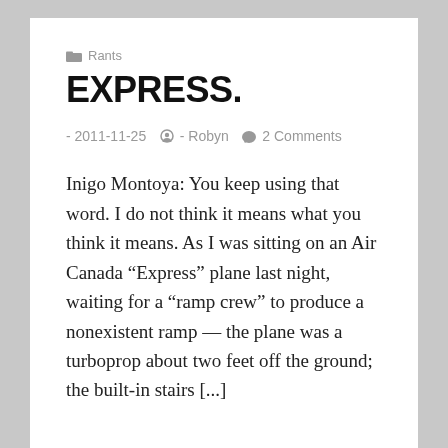Rants
EXPRESS.
- 2011-11-25  - Robyn  2 Comments
Inigo Montoya: You keep using that word. I do not think it means what you think it means. As I was sitting on an Air Canada “Express” plane last night, waiting for a “ramp crew” to produce a nonexistent ramp — the plane was a turboprop about two feet off the ground; the built-in stairs [...]